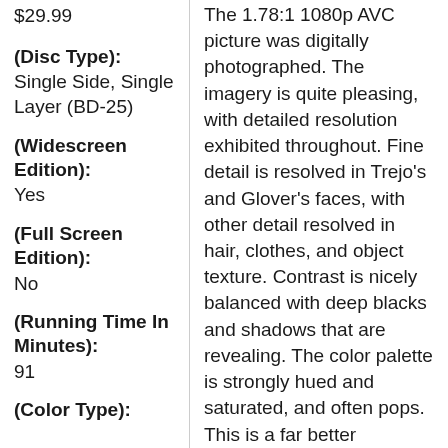$29.99
(Disc Type): Single Side, Single Layer (BD-25)
(Widescreen Edition): Yes
(Full Screen Edition): No
(Running Time In Minutes): 91
(Color Type):
The 1.78:1 1080p AVC picture was digitally photographed. The imagery is quite pleasing, with detailed resolution exhibited throughout. Fine detail is resolved in Trejo's and Glover's faces, with other detail resolved in hair, clothes, and object texture. Contrast is nicely balanced with deep blacks and shadows that are revealing. The color palette is strongly hued and saturated, and often pops. This is a far better presentation than the first release. (Gary Reber)